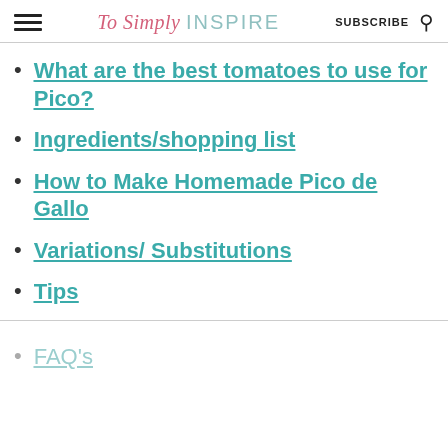To Simply INSPIRE | SUBSCRIBE
What are the best tomatoes to use for Pico?
Ingredients/shopping list
How to Make Homemade Pico de Gallo
Variations/ Substitutions
Tips
FAQ's